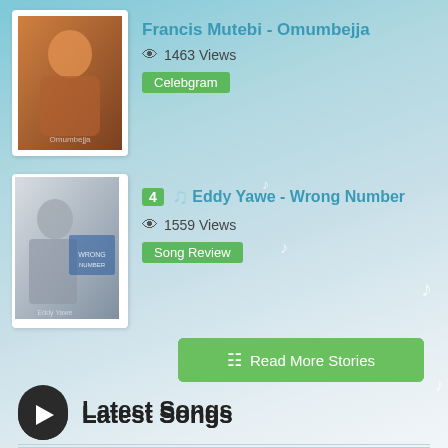Francis Mutebi - Omumbejja
1463 Views
Celebgram
4 Eddy Yawe - Wrong Number
1559 Views
Song Review
Read More Stories
Latest Songs
1 Kampala by Daddy Andre
2 Im Bless featuring Nutty Neithan by J Wats
Obusika featuring Hassan Ndugga Bamweyana